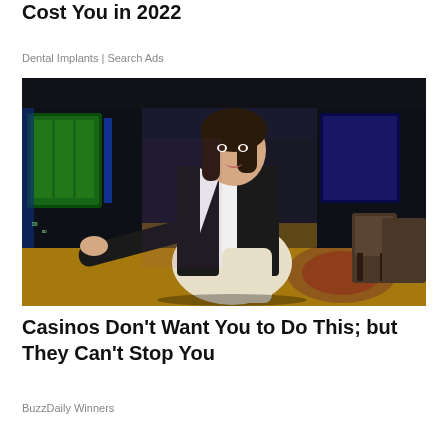Cost You in 2022
Dental Implants | Search Ads
[Figure (photo): Woman in white shirt and black blazer sitting in a casino with slot machines in the background, ornate carpeted floor visible]
Casinos Don't Want You to Do This; but They Can't Stop You
BuzzDaily Winners